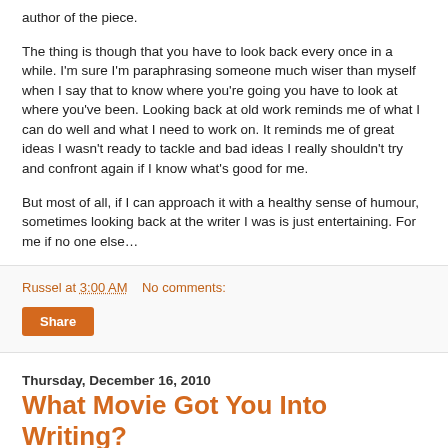author of the piece.
The thing is though that you have to look back every once in a while. I'm sure I'm paraphrasing someone much wiser than myself when I say that to know where you're going you have to look at where you've been. Looking back at old work reminds me of what I can do well and what I need to work on. It reminds me of great ideas I wasn't ready to tackle and bad ideas I really shouldn't try and confront again if I know what's good for me.
But most of all, if I can approach it with a healthy sense of humour, sometimes looking back at the writer I was is just entertaining. For me if no one else…
Russel at 3:00 AM   No comments:
Share
Thursday, December 16, 2010
What Movie Got You Into Writing?